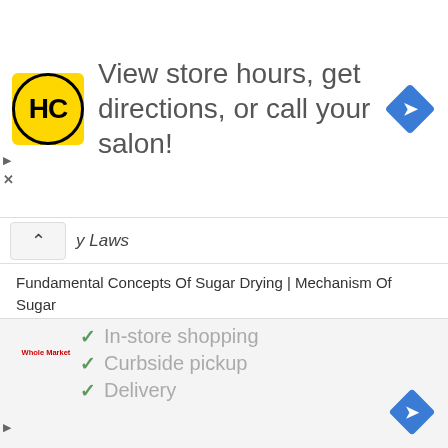[Figure (screenshot): Top advertisement banner with HC logo (yellow square with black circle), text 'View store hours, get directions, or call your salon!' and a blue navigation diamond icon on the right]
y Laws
Fundamental Concepts Of Sugar Drying | Mechanism Of Sugar Drying
Membrane Filtration Technology | Types And Levels Of Membrane Filtration
Dextran And Starch Effect In Sugar Process | Dextranase And Amylase Enzymes
Ion Exchange Resin Process In Sugar Refinery | Basic Concepts Of
[Figure (screenshot): Bottom advertisement banner with store logo (Whole Market), checkmarks listing 'In-store shopping', 'Curbside pickup', 'Delivery' and a blue navigation diamond icon]